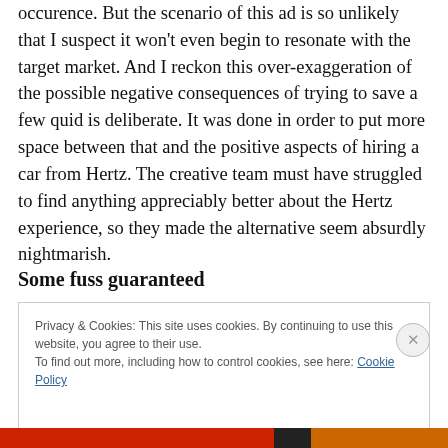occurence. But the scenario of this ad is so unlikely that I suspect it won't even begin to resonate with the target market. And I reckon this over-exaggeration of the possible negative consequences of trying to save a few quid is deliberate. It was done in order to put more space between that and the positive aspects of hiring a car from Hertz. The creative team must have struggled to find anything appreciably better about the Hertz experience, so they made the alternative seem absurdly nightmarish.
Some fuss guaranteed
Privacy & Cookies: This site uses cookies. By continuing to use this website, you agree to their use.
To find out more, including how to control cookies, see here: Cookie Policy